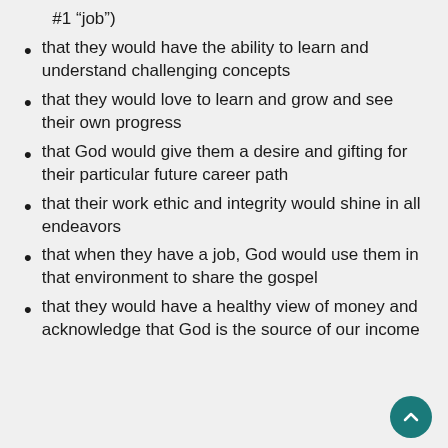(... #1 “job”)
that they would have the ability to learn and understand challenging concepts
that they would love to learn and grow and see their own progress
that God would give them a desire and gifting for their particular future career path
that their work ethic and integrity would shine in all endeavors
that when they have a job, God would use them in that environment to share the gospel
that they would have a healthy view of money and acknowledge that God is the source of our income